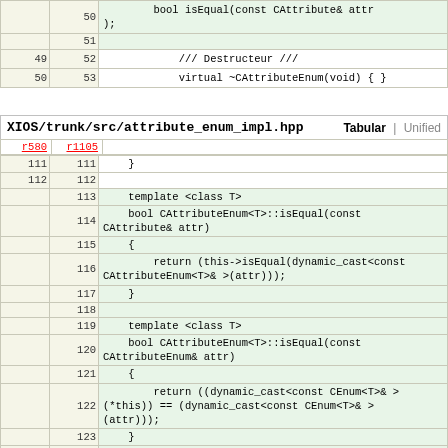| r580 | r1105 | code |
| --- | --- | --- |
|  | 50 |         bool isEqual(const CAttribute& attr
); |
|  | 51 |  |
| 49 | 52 |             /// Destructeur /// |
| 50 | 53 |             virtual ~CAttributeEnum(void) { } |
XIOS/trunk/src/attribute_enum_impl.hpp    Tabular  |  Unified
| r580 | r1105 | code |
| --- | --- | --- |
| 111 | 111 |     } |
| 112 | 112 |  |
|  | 113 |     template <class T> |
|  | 114 |     bool CAttributeEnum<T>::isEqual(const CAttribute& attr) |
|  | 115 |     { |
|  | 116 |         return (this->isEqual(dynamic_cast<const CAttributeEnum<T>& >(attr))); |
|  | 117 |     } |
|  | 118 |  |
|  | 119 |     template <class T> |
|  | 120 |     bool CAttributeEnum<T>::isEqual(const CAttributeEnum& attr) |
|  | 121 |     { |
|  | 122 |         return ((dynamic_cast<const CEnum<T>& >(*this)) == (dynamic_cast<const CEnum<T>& >(attr))); |
|  | 123 |     } |
|  | 124 |  |
| 113 | 125 |     //----------------------------------------------... |
| 114 | 126 |  |